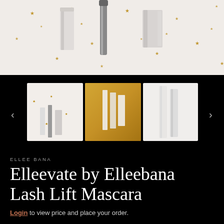[Figure (photo): Main product photo showing Elleebana mascara tubes on a light background scattered with gold star confetti]
[Figure (photo): Thumbnail carousel showing three product images: mascara set with gold stars, products against gold backdrop, and white product bottles. Navigation arrows on sides.]
ELLEE BANA
Elleevate by Elleebana Lash Lift Mascara
Login to view price and place your order.